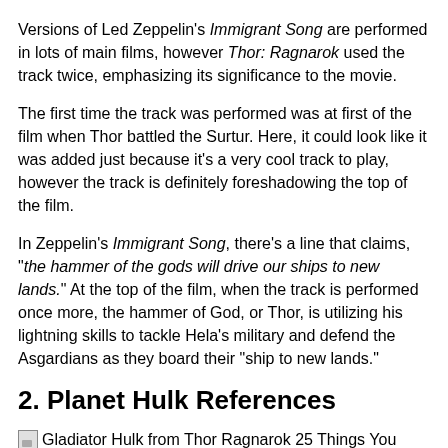Versions of Led Zeppelin's Immigrant Song are performed in lots of main films, however Thor: Ragnarok used the track twice, emphasizing its significance to the movie.
The first time the track was performed was at first of the film when Thor battled the Surtur. Here, it could look like it was added just because it's a very cool track to play, however the track is definitely foreshadowing the top of the film.
In Zeppelin's Immigrant Song, there's a line that claims, "the hammer of the gods will drive our ships to new lands." At the top of the film, when the track is performed once more, the hammer of God, or Thor, is utilizing his lightning skills to tackle Hela's military and defend the Asgardians as they board their "ship to new lands."
2. Planet Hulk References
Gladiator Hulk from Thor Ragnarok 25 Things You Completely Missed In Thor: Ragnarok